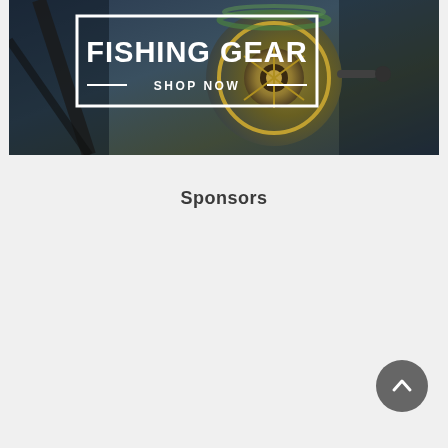[Figure (photo): Banner advertisement showing a fishing reel close-up with dark blue/teal background. White bordered rectangle contains large bold text 'FISHING GEAR' and below it '— SHOP NOW —' with decorative lines on each side.]
Sponsors